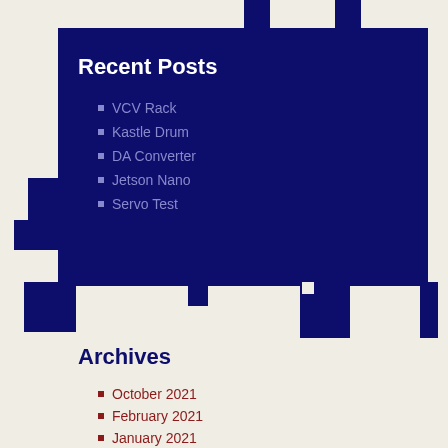Recent Posts
VCV Rack
Kastle Drum
DA Converter
Jetson Nano
Servo Test
Archives
October 2021
February 2021
January 2021
June 2020
January 2018
August 2017